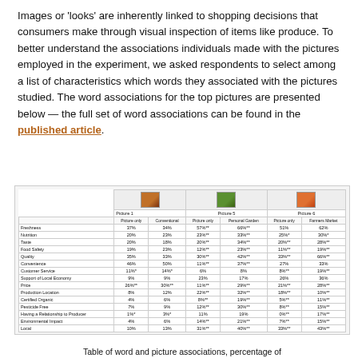Images or 'looks' are inherently linked to shopping decisions that consumers make through visual inspection of items like produce. To better understand the associations individuals made with the pictures employed in the experiment, we asked respondents to select among a list of characteristics which words they associated with the pictures studied. The word associations for the top pictures are presented below — the full set of word associations can be found in the published article.
|  | Picture 1 Picture only | Picture 1 Conventional | Picture 5 Picture only | Picture 5 Personal Garden | Picture 6 Picture only | Picture 6 Farmers Market |
| --- | --- | --- | --- | --- | --- | --- |
| Freshness | 37% | 34% | 57%** | 66%** | 51% | 62% |
| Nutrition | 20% | 23% | 23%** | 33%** | 25%* | 30%* |
| Taste | 20% | 18% | 20%** | 34%** | 20%** | 28%** |
| Food Safety | 19% | 23% | 12%** | 23%** | 11%** | 19%** |
| Quality | 35% | 33% | 30%** | 42%** | 33%** | 66%** |
| Convenience | 46% | 50% | 11%** | 37%** | 27% | 33% |
| Customer Service | 11%* | 14%* | 6% | 8% | 8%** | 19%** |
| Support of Local Economy | 9% | 9% | 23% | 17% | 26% | 36% |
| Price | 26%** | 30%** | 11%** | 29%** | 21%** | 28%** |
| Production Location | 8% | 12% | 22%** | 32%** | 18%** | 10%** |
| Certified Organic | 4% | 6% | 8%** | 19%** | 5%** | 11%** |
| Pesticide Free | 7% | 9% | 12%** | 30%** | 8%** | 15%** |
| Having a Relationship to Producer | 1%* | 3%* | 11% | 19% | 0%** | 17%** |
| Environmental Impact | 4% | 6% | 14%** | 21%** | 7%** | 15%** |
| Local | 10% | 13% | 31%** | 40%** | 33%** | 43%** |
Table of word and picture associations, percentage of